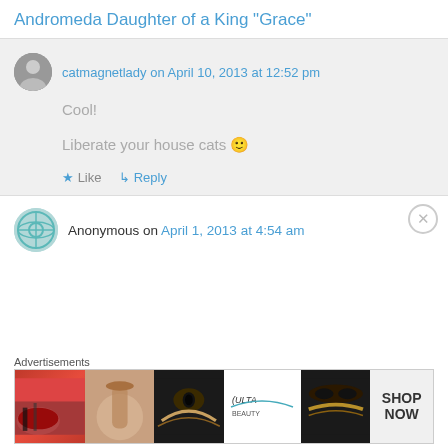Andromeda Daughter of a King "Grace"
catmagnetlady on April 10, 2013 at 12:52 pm
Cool!
Liberate your house cats 🙂
★ Like
↳ Reply
Anonymous on April 1, 2013 at 4:54 am
Advertisements